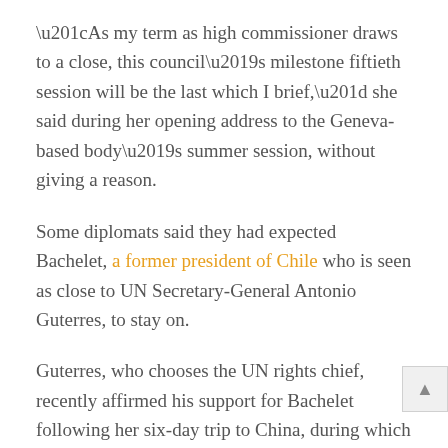“As my term as high commissioner draws to a close, this council’s milestone fiftieth session will be the last which I brief,” she said during her opening address to the Geneva-based body’s summer session, without giving a reason.
Some diplomats said they had expected Bachelet, a former president of Chile who is seen as close to UN Secretary-General Antonio Guterres, to stay on.
Guterres, who chooses the UN rights chief, recently affirmed his support for Bachelet following her six-day trip to China, during which she spoke with President Xi Jinping and other top officials.
Bachelet’s long-awaited trip – the first in 17